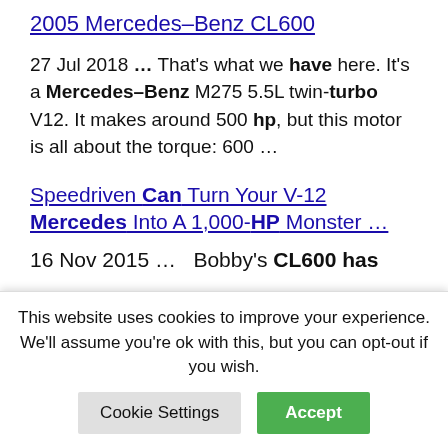2005 Mercedes–Benz CL600
27 Jul 2018 … That's what we have here. It's a Mercedes–Benz M275 5.5L twin-turbo V12. It makes around 500 hp, but this motor is all about the torque: 600 …
Speedriven Can Turn Your V-12 Mercedes Into A 1,000-HP Monster …
16 Nov 2015 … Bobby's CL600 has
This website uses cookies to improve your experience. We'll assume you're ok with this, but you can opt-out if you wish.
Cookie Settings | Accept